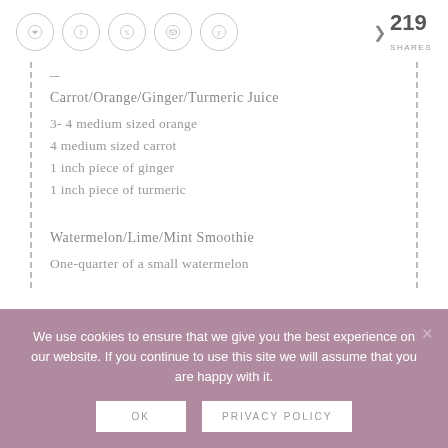Social share buttons with 219 SHARES
Carrot/Orange/Ginger/Turmeric Juice
3- 4 medium sized orange
4 medium sized carrot
1 inch piece of ginger
1 inch piece of turmeric
Watermelon/Lime/Mint Smoothie
One-quarter of a small watermelon
We use cookies to ensure that we give you the best experience on our website. If you continue to use this site we will assume that you are happy with it.
OK  PRIVACY POLICY